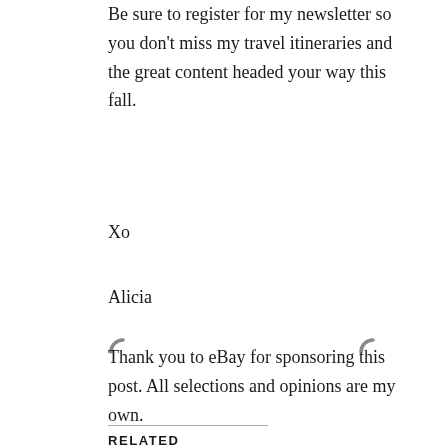Be sure to register for my newsletter so you don't miss my travel itineraries and the great content headed your way this fall.
Xo
Alicia
[Figure (other): Two loading spinner icons side by side]
Thank you to eBay for sponsoring this post.  All selections and opinions are my own.
RELATED